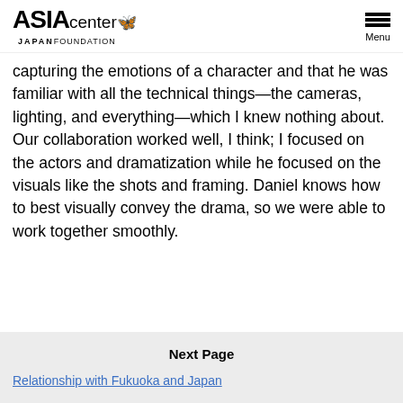ASIA center JAPAN FOUNDATION | Menu
capturing the emotions of a character and that he was familiar with all the technical things—the cameras, lighting, and everything—which I knew nothing about. Our collaboration worked well, I think; I focused on the actors and dramatization while he focused on the visuals like the shots and framing. Daniel knows how to best visually convey the drama, so we were able to work together smoothly.
Next Page
Relationship with Fukuoka and Japan